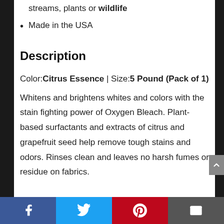streams, plants or wildlife
Made in the USA
Description
Color:Citrus Essence | Size:5 Pound (Pack of 1)
Whitens and brightens whites and colors with the stain fighting power of Oxygen Bleach. Plant-based surfactants and extracts of citrus and grapefruit seed help remove tough stains and odors. Rinses clean and leaves no harsh fumes or residue on fabrics.
Facebook | Twitter | Pinterest | Email